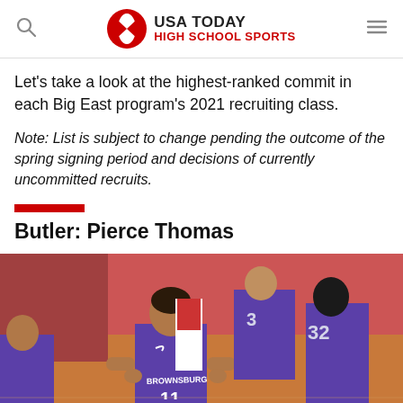USA TODAY HIGH SCHOOL SPORTS
Let's take a look at the highest-ranked commit in each Big East program's 2021 recruiting class.
Note: List is subject to change pending the outcome of the spring signing period and decisions of currently uncommitted recruits.
Butler: Pierce Thomas
[Figure (photo): Basketball players in purple Brownsburg uniforms on a basketball court. The central player wearing jersey number 11 stands with hands on hips. Players with numbers 3 and 32 are visible in the background.]